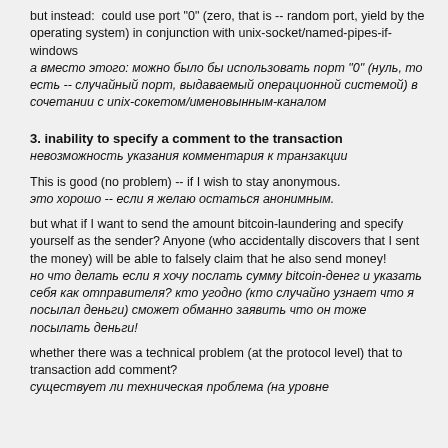but instead:  could use port "0" (zero, that is -- random port, yield by the operating system) in conjunction with unix-socket/named-pipes-if-windows
а вместо этого: можно было бы использовать порт "0" (нуль, то есть -- случайный порт, выдаваемый операционной системой) в сочетании с unix-сокетом/именовынным-каналом
3. inability to specify a comment to the transaction
невозможность указания комментария к транзакции
This is good (no problem) -- if I wish to stay anonymous.
это хорошо -- если я желаю остаться анонимным.
but what if I want to send the amount bitcoin-laundering and specify yourself as the sender? Anyone (who accidentally discovers that I sent the money) will be able to falsely claim that he also send money!
но что делать если я хочу послать сумму bitcoin-денег и указать себя как отправителя? кто угодно (кто случайно узнает что я посылал деньги) сможет обманно заявить что он тоже посылать деньги!
whether there was a technical problem (at the protocol level) that to transaction add comment?
существует ли техническая проблема (на уровне